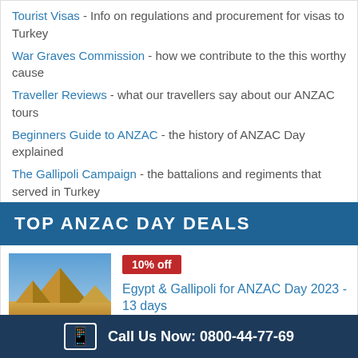Tourist Visas - Info on regulations and procurement for visas to Turkey
War Graves Commission - how we contribute to the this worthy cause
Traveller Reviews - what our travellers say about our ANZAC tours
Beginners Guide to ANZAC - the history of ANZAC Day explained
The Gallipoli Campaign - the battalions and regiments that served in Turkey
TOP ANZAC DAY DEALS
[Figure (photo): Photo of pyramids and sky, thumbnail image for Egypt & Gallipoli tour]
[Figure (map): Map thumbnail with zoom magnifier icon]
10% off
Egypt & Gallipoli for ANZAC Day 2023 - 13 days
NZD $2,831   Find out more >
was $3145
Call Us Now: 0800-44-77-69